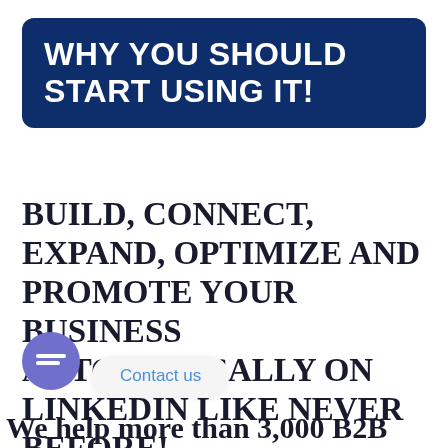WHY YOU SHOULD START USING IT!
BUILD, CONNECT, EXPAND, OPTIMIZE AND PROMOTE YOUR BUSINESS AUTOMATICALLY ON LINKEDIN LIKE NEVER BEFORE!
Contact us
We help more than 3,000 B2B